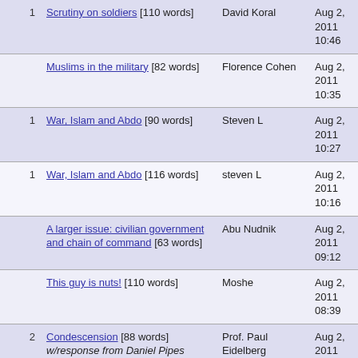|  | Title | Author | Date |
| --- | --- | --- | --- |
| 1 | Scrutiny on soldiers [110 words] | David Koral | Aug 2, 2011 10:46 |
|  | Muslims in the military [82 words] | Florence Cohen | Aug 2, 2011 10:35 |
| 1 | War, Islam and Abdo [90 words] | Steven L | Aug 2, 2011 10:27 |
| 1 | War, Islam and Abdo [116 words] | steven L | Aug 2, 2011 10:16 |
|  | A larger issue: civilian government and chain of command [63 words] | Abu Nudnik | Aug 2, 2011 09:12 |
|  | This guy is nuts! [110 words] | Moshe | Aug 2, 2011 08:39 |
| 2 | Condescension [88 words] w/response from Daniel Pipes | Prof. Paul Eidelberg | Aug 2, 2011 07:57 |
|  | ↳ Behaviour [76 words] | Mark D. | Aug 5, 2011 11:17 |